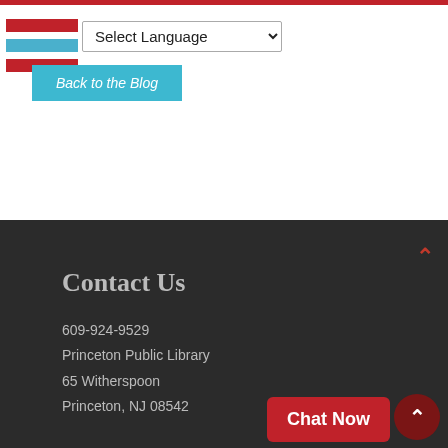Select Language | Back to the Blog
Contact Us
609-924-9529
Princeton Public Library
65 Witherspoon
Princeton, NJ 08542
Hours
Mon: 9 a.m. to 9 p.m.
Tue: 9 a.m. to 9 p.m.
Wed: 9 a.m. to 9 p.m.
Thu: 9 a.m. to 9 p.m.
Chat Now